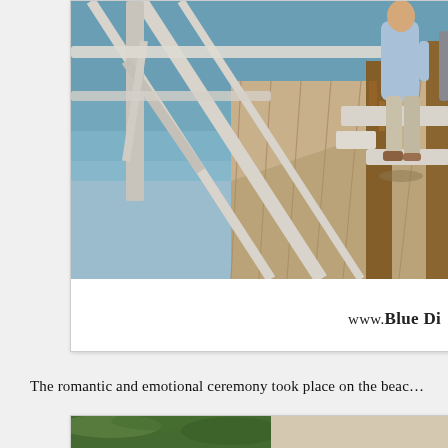[Figure (photo): Photo of people walking on a wooden pier with white railing and rustic wooden posts, water visible in background, taken outdoors in bright sunlight.]
www.Blue Di
The romantic and emotional ceremony took place on the beac...
[Figure (photo): Partial view of a second photo showing green tropical foliage.]